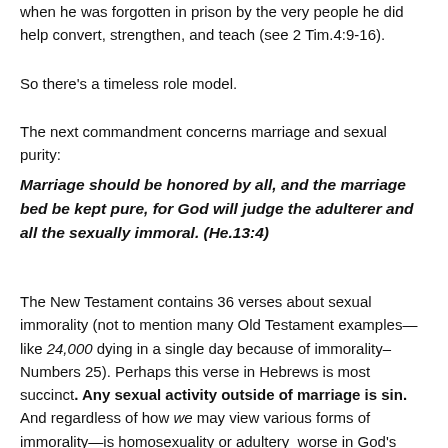when he was forgotten in prison by the very people he did help convert, strengthen, and teach (see 2 Tim.4:9-16).
So there's a timeless role model.
The next commandment concerns marriage and sexual purity:
Marriage should be honored by all, and the marriage bed be kept pure, for God will judge the adulterer and all the sexually immoral. (He.13:4)
The New Testament contains 36 verses about sexual immorality (not to mention many Old Testament examples—like 24,000 dying in a single day because of immorality–Numbers 25). Perhaps this verse in Hebrews is most succinct. Any sexual activity outside of marriage is sin. And regardless of how we may view various forms of immorality—is homosexuality or adultery  worse in God's eyes than sex before marriage?—it all comes down to the same thing: rebellion against God's holiness and commandments.